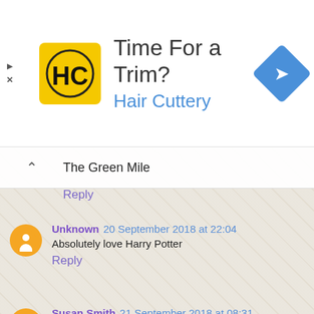[Figure (infographic): Advertisement banner for Hair Cuttery: logo (HC in yellow square), title 'Time For a Trim?', subtitle 'Hair Cuttery' in blue, navigation icon (blue diamond with right arrow). Play and close controls on left edge.]
The Green Mile
Reply
Unknown 20 September 2018 at 22:04
Absolutely love Harry Potter
Reply
Susan Smith 21 September 2018 at 08:31
The original Jungle Book
Reply
Lorna 22 September 2018 at 19:03